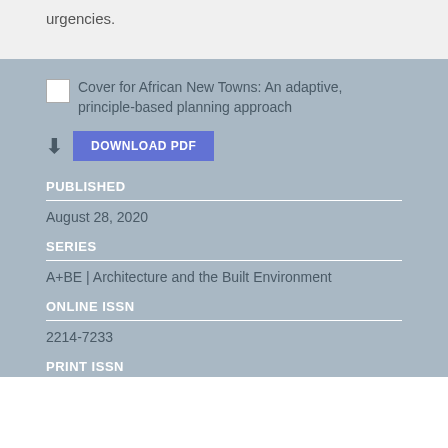urgencies.
[Figure (illustration): Book cover image (broken/placeholder) for African New Towns: An adaptive, principle-based planning approach]
Cover for African New Towns: An adaptive, principle-based planning approach
DOWNLOAD PDF
PUBLISHED
August 28, 2020
SERIES
A+BE | Architecture and the Built Environment
ONLINE ISSN
2214-7233
PRINT ISSN